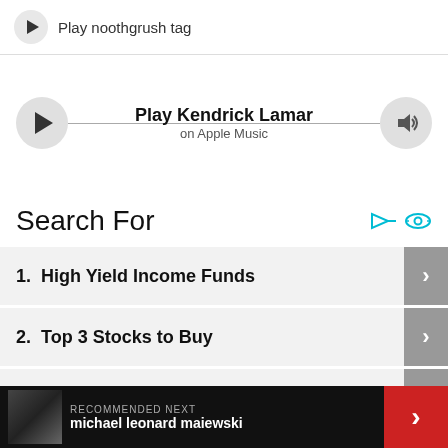Play noothgrush tag
Play Kendrick Lamar on Apple Music
Search For
1. High Yield Income Funds
2. Top 3 Stocks to Buy
3. Best Jobs for Seniors
RECOMMENDED NEXT michael leonard maiewski